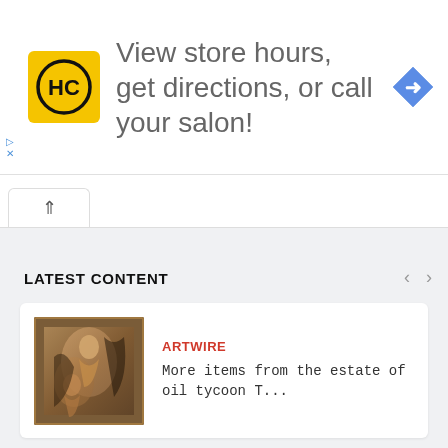[Figure (screenshot): Advertisement banner with HC (Hair Club) yellow logo, text 'View store hours, get directions, or call your salon!', and a blue diamond-shaped navigation arrow icon on the right.]
[Figure (screenshot): Browser tab bar showing a single open tab with an up-caret (^) icon.]
LATEST CONTENT
[Figure (photo): Thumbnail of a classical oil painting showing figures in dramatic baroque style.]
ARTWIRE
More items from the estate of oil tycoon T...